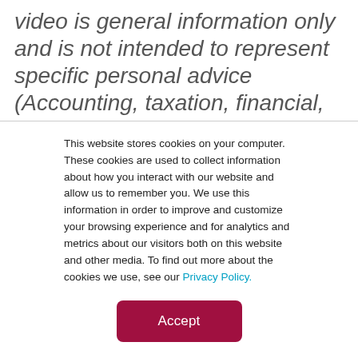video is general information only and is not intended to represent specific personal advice (Accounting, taxation, financial, insurance or credit). No individual's personal circumstances have been taken into consideration for the preparation of this material. Any individual making a decision to buy, sell or hold any particular financial product should make their own assessment taking into account their own particular circumstances. The information and
This website stores cookies on your computer. These cookies are used to collect information about how you interact with our website and allow us to remember you. We use this information in order to improve and customize your browsing experience and for analytics and metrics about our visitors both on this website and other media. To find out more about the cookies we use, see our Privacy Policy.